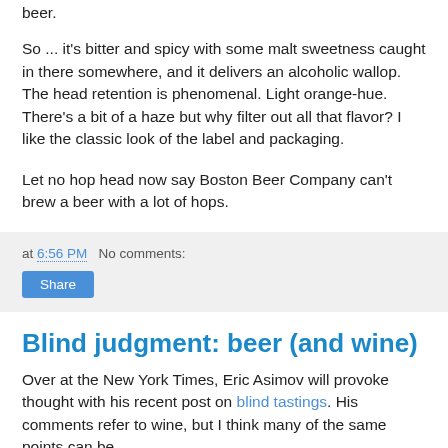beer.
So ... it's bitter and spicy with some malt sweetness caught in there somewhere, and it delivers an alcoholic wallop. The head retention is phenomenal. Light orange-hue. There's a bit of a haze but why filter out all that flavor? I like the classic look of the label and packaging.
Let no hop head now say Boston Beer Company can't brew a beer with a lot of hops.
at 6:56 PM   No comments:
Share
Blind judgment: beer (and wine)
Over at the New York Times, Eric Asimov will provoke thought with his recent post on blind tastings. His comments refer to wine, but I think many of the same points can be